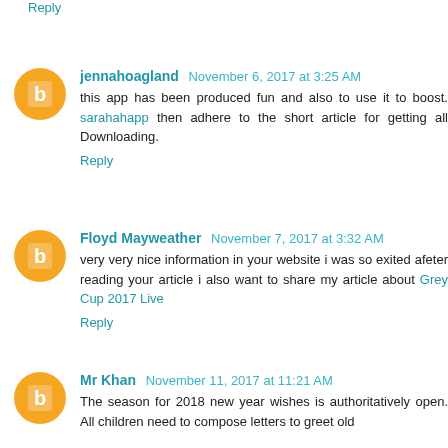Reply
jennahoagland November 6, 2017 at 3:25 AM
this app has been produced fun and also to use it to boost. sarahahapp then adhere to the short article for getting all Downloading.
Reply
Floyd Mayweather November 7, 2017 at 3:32 AM
very very nice information in your website i was so exited afeter reading your article i also want to share my article about Grey Cup 2017 Live
Reply
Mr Khan November 11, 2017 at 11:21 AM
The season for 2018 new year wishes is authoritatively open. All children need to compose letters to greet old